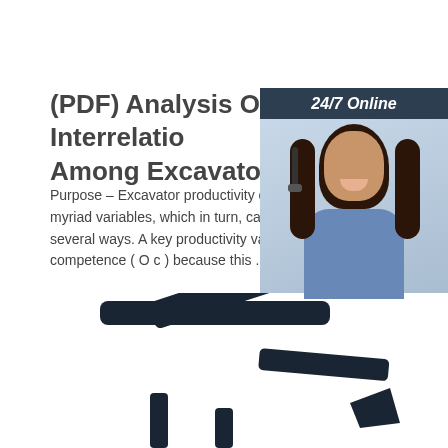(PDF) Analysis Of Interrelatio Among Excavator ...
Purpose – Excavator productivity calculations myriad variables, which in turn, can be modelli several ways. A key productivity variable is ope competence ( O c ) because this ...
[Figure (photo): Advertisement panel with 24/7 Online header, photo of woman with headset smiling, Click here for free chat! text, and QUOTATION button]
[Figure (photo): Bottom portion of an excavator arm/boom against white background]